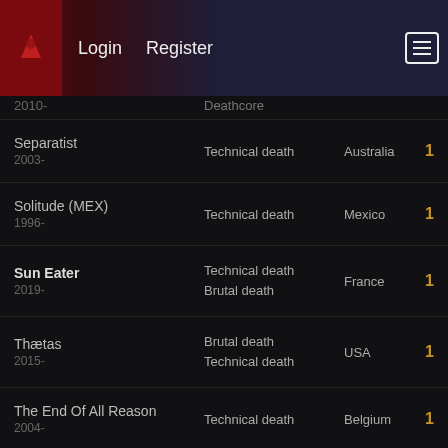Login   Register
2010-   Deathcore
Separatist
2003-   Technical death   Australia   1
Solitude (MEX)
1996-   Technical death   Mexico   1
Sun Eater
2019-   Technical death / Brutal death   France   1
Thætas
2015-   Brutal death / Technical death   USA   1
The End Of All Reason
2004-   Technical death   Belgium   1
The Kennedy Veil
2009-   Brutal death / Technical death   USA   1
The Scalar Process
2016-   Technical death / Progressive death   France   1
The Schoenberg Automaton
2009-   Technical death / Technical deathcore   Australia   1